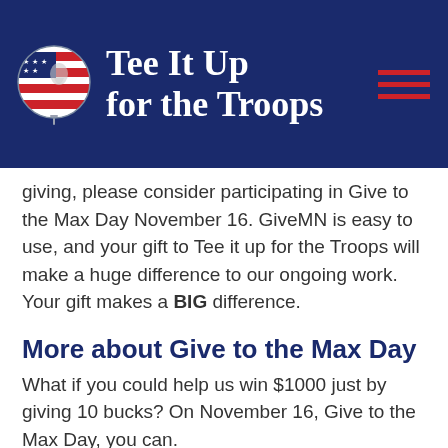[Figure (logo): Tee It Up for the Troops logo with circular globe/golf tee icon featuring American flag colors and stars, on dark navy background with organization name in white serif font and red hamburger menu lines]
giving, please consider participating in Give to the Max Day November 16. GiveMN is easy to use, and your gift to Tee it up for the Troops will make a huge difference to our ongoing work. Your gift makes a BIG difference.
More about Give to the Max Day
What if you could help us win $1000 just by giving 10 bucks? On November 16, Give to the Max Day, you can.
(cut off at bottom)